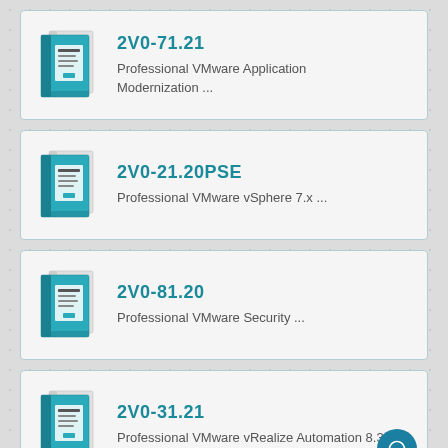[Figure (illustration): Book/study guide product image for exam 2V0-71.21]
2V0-71.21
Professional VMware Application Modernization ...
[Figure (illustration): Book/study guide product image for exam 2V0-21.20PSE]
2V0-21.20PSE
Professional VMware vSphere 7.x ...
[Figure (illustration): Book/study guide product image for exam 2V0-81.20]
2V0-81.20
Professional VMware Security ...
[Figure (illustration): Book/study guide product image for exam 2V0-31.21]
2V0-31.21
Professional VMware vRealize Automation 8.3